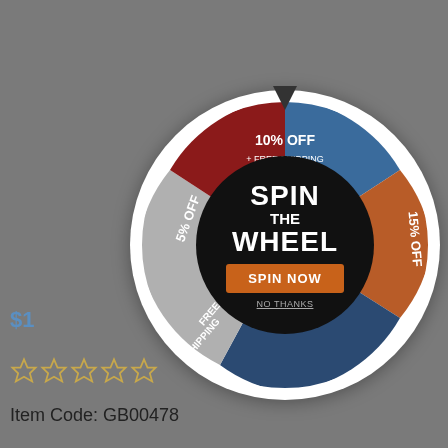[Figure (infographic): Spin the wheel promotional overlay on a shoe product page. The wheel has 5 colored segments: blue (10% OFF + FREE SHIPPING, top), orange-brown ($20 OFF, right), navy blue (15% OFF, bottom-right), gray (FREE SHIPPING, bottom-left), red (5% OFF, left). Center black circle shows SPIN THE WHEEL with SPIN NOW orange button and NO THANKS link.]
$1...
Item Code: GB00478